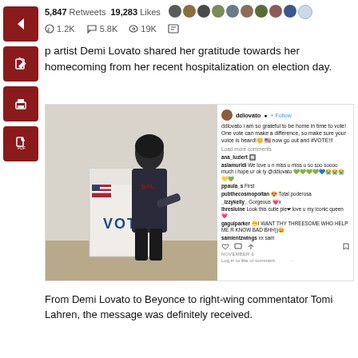5,847 Retweets   19,283 Likes
1.2K   5.8K   19K
p artist Demi Lovato shared her gratitude towards her homecoming from her recent hospitalization on election day.
[Figure (screenshot): Instagram post screenshot showing Demi Lovato voting at a polling station, with comments visible on the right side. The post by ddlovato says 'i am so grateful to be home in time to vote! One vote can make a difference, so make sure your voice is heard! now go out and #VOTE!!!']
From Demi Lovato to Beyonce to right-wing commentator Tomi Lahren, the message was definitely received.